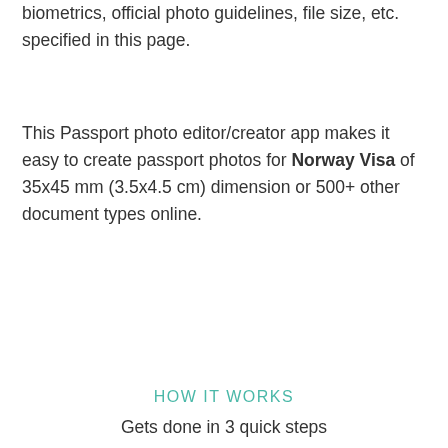biometrics, official photo guidelines, file size, etc. specified in this page.
This Passport photo editor/creator app makes it easy to create passport photos for Norway Visa of 35x45 mm (3.5x4.5 cm) dimension or 500+ other document types online.
HOW IT WORKS
Gets done in 3 quick steps